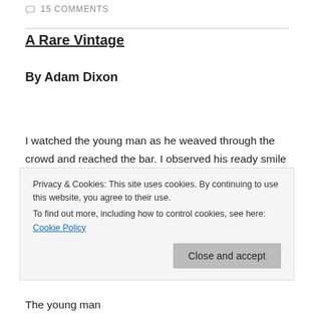15 COMMENTS
A Rare Vintage
By Adam Dixon
I watched the young man as he weaved through the crowd and reached the bar. I observed his ready smile as the bartender caught his eye, and his lips moved as he ordered a drink. The buzz of Saturday
Privacy & Cookies: This site uses cookies. By continuing to use this website, you agree to their use.
To find out more, including how to control cookies, see here: Cookie Policy
Close and accept
The young man...